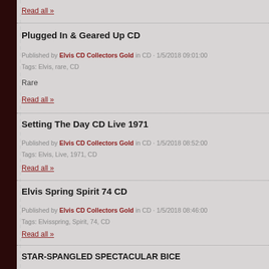Read all »
Plugged In & Geared Up CD
Published by Elvis CD Collectors Gold in CD · 1/5/2018 09:01:00
Tags: Elvis, rare, CD
Rare
Read all »
Setting The Day CD Live 1971
Published by Elvis CD Collectors Gold in CD · 1/5/2018 08:52:00
Tags: Elvis, Live, 1971, CD
Read all »
Elvis Spring Spirit 74 CD
Published by Elvis CD Collectors Gold in CD · 1/5/2018 08:46:00
Tags: Elvisspring, Spirit, 74, CD
Read all »
STAR-SPANGLED SPECTACULAR BICE...
Published by Elvis CD Collectors Gold in CD · 1/5/2018 08:44:00
Tags: Elvis, CD
Read all »